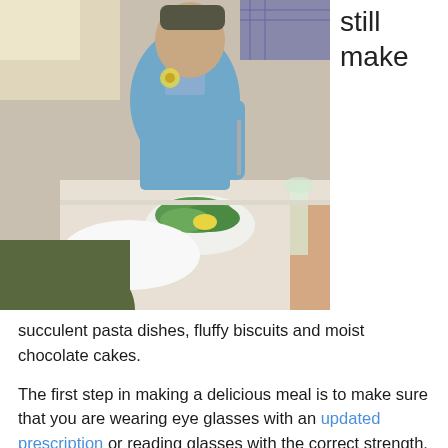[Figure (photo): Two people dining at a table; person in blue sweater visible in center holding fork, salad bowl and food on table, bright outdoor setting]
still make
succulent pasta dishes, fluffy biscuits and moist chocolate cakes.
The first step in making a delicious meal is to make sure that you are wearing eye glasses with an updated prescription or reading glasses with the correct strength. Then, ask yourself the following questions:
1. Is my working space well-lit? If you have low vision or poor vision, you need brighter light to help you see. Make sure that your kitchen has